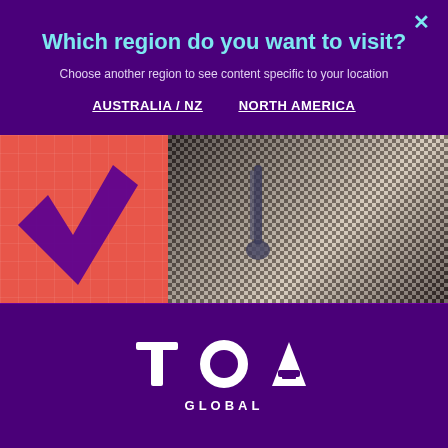Which region do you want to visit?
Choose another region to see content specific to your location
AUSTRALIA / NZ     NORTH AMERICA
[Figure (photo): Hero image showing a person in a houndstooth jacket holding scissors, on a coral/red background with a purple checkmark graphic]
Home > Blogs
> Keeping Pace with Change: Turning Accountants into Consultants
[Figure (logo): TOA Global logo — white sans-serif text reading TOA GLOBAL with a circular element in the O]